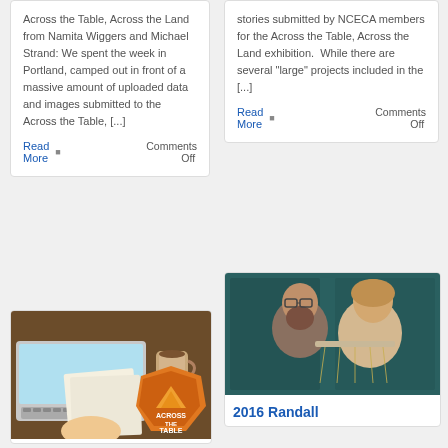Across the Table, Across the Land from Namita Wiggers and Michael Strand: We spent the week in Portland, camped out in front of a massive amount of uploaded data and images submitted to the Across the Table, [...]
Read More ■ Comments Off
stories submitted by NCECA members for the Across the Table, Across the Land exhibition.  While there are several "large" projects included in the [...]
Read More ■ Comments Off
[Figure (photo): Photo showing a laptop with coffee mug and papers, alongside an orange hexagonal badge reading 'ACROSS THE TABLE']
[Figure (photo): Photo of a man and woman posing together, woman holding a ceramic piece, in front of a teal background]
2016 Randall